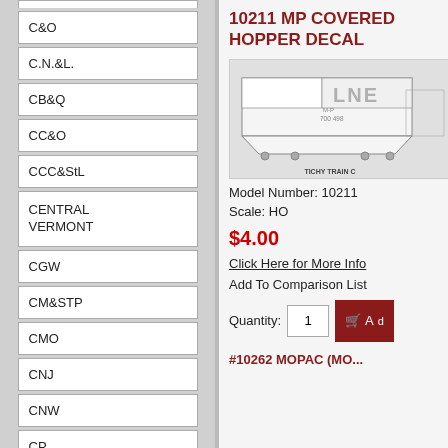C&O
C.N.&L.
CB&Q
CC&O
CCC&StL
CENTRAL VERMONT
CGW
CM&STP
CMO
CNJ
CNW
CP
D&H
D&RGW
DL&W
10211 MP COVERED HOPPER DECAL
[Figure (illustration): Technical line drawing of a covered hopper rail car with LNE lettering, M-P designation, number 700 498, with TICHY TRAIN CO label]
Model Number: 10211
Scale: HO
$4.00
Click Here for More Info
Add To Comparison List
Quantity: 1
#10262 MOPAC (MO...